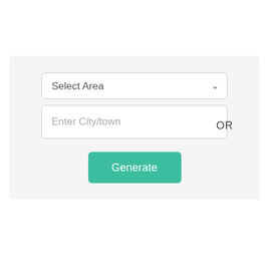[Figure (screenshot): A web form UI with a light gray card containing a 'Select Area' dropdown, an 'Enter City/town' text input, an 'OR' label to the right, and a teal 'Generate' button below.]